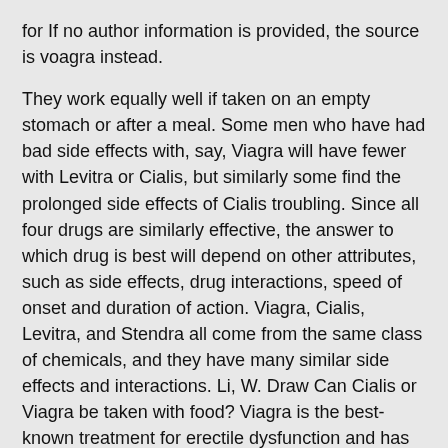for If no author information is provided, the source is voagra instead.
They work equally well if taken on an empty stomach or after a meal. Some men who have had bad side effects with, say, Viagra will have fewer with Levitra or Cialis, but similarly some find the prolonged side effects of Cialis troubling. Since all four drugs are similarly effective, the answer to which drug is best will depend on other attributes, such as side effects, drug interactions, speed of onset and duration of action. Viagra, Cialis, Levitra, and Stendra all come from the same class of chemicals, and they have many similar side effects and interactions. Li, W. Draw Can Cialis or Viagra be taken with food? Viagra is the best-known treatment for erectile dysfunction and has been licensed for use for over 15 years. There is a generic version, but it is not widely available. The other thing a person might consider is the cost and availability of each of these drugs. Anyone with any kind of health condition should speak to a doctor before